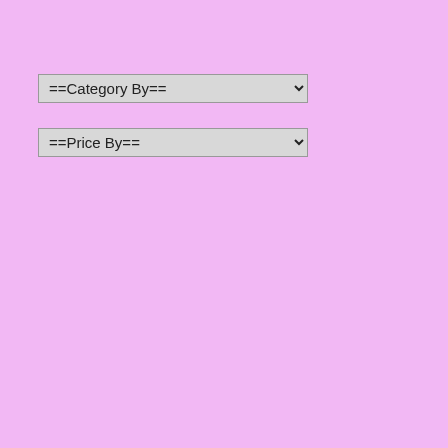[Figure (screenshot): Pink sidebar panel with two dropdown menus labeled '==Category By==' and '==Price By==']
mountain tops or sea beds. Governments and non-government organizations flowers.
The horticulture industry is expanding, universities across the world are working to ensure that the updated nomenclature and research and analysis take place about the exotic nature of flowers. Historically, flowers are to past and present cultures. To ensure gigantic and magnanimous variety of flowers and trees. Different flowers have been passed on from generations in all different season and months. Many different flowers exist and bloom in a specific climate and environment. Some are very easy to grow. But there nourishment to ensure growth in